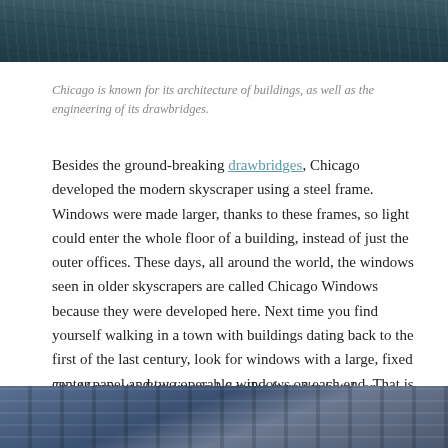[Figure (photo): Top portion of a photo showing dark water surface, likely a river in Chicago]
Chicago is known for its architecture of buildings, as well as the engineering of its drawbridges.
Besides the ground-breaking drawbridges, Chicago developed the modern skyscraper using a steel frame. Windows were made larger, thanks to these frames, so light could enter the whole floor of a building, instead of just the outer offices. These days, all around the world, the windows seen in older skyscrapers are called Chicago Windows because they were developed here. Next time you find yourself walking in a town with buildings dating back to the first of the last century, look for windows with a large, fixed center panel and two operable windows on each end. That is a Chicago Window.  A prime example of this style of window can be see in the Marquette Building at S. Dearborn St. and Adams.
The Marquette Building is 1.6 miles from the hotel, or approximately 3200 steps.
[Figure (photo): Bottom portion of a photo showing Chicago buildings with Chicago Windows architectural style]